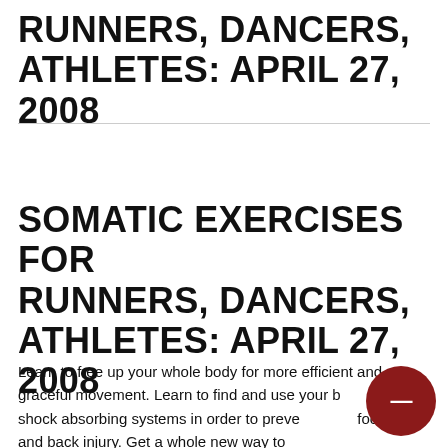RUNNERS, DANCERS, ATHLETES: APRIL 27, 2008
SOMATIC EXERCISES FOR RUNNERS, DANCERS, ATHLETES: APRIL 27, 2008
Learn to free up your whole body for more efficient and graceful movement. Learn to find and use your body's natural shock absorbing systems in order to prevent knee, foot, hip, and back injury. Get a whole new way to